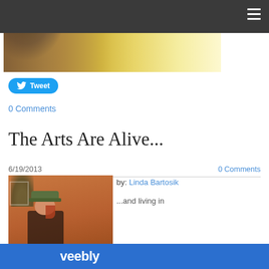[Figure (photo): Hero banner image showing a warm golden-toned photo with a dark circular element (globe/ball) on a wooden surface, with a dark navigation bar overlay at top containing a hamburger menu icon]
Tweet
0 Comments
The Arts Are Alive...
6/19/2013
0 Comments
[Figure (photo): A person wearing a green hat, seated indoors with an orange/terracotta wall and plant visible in background]
by: Linda Bartosik
...and living in
veebly